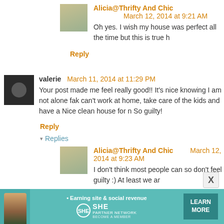Alicia@Thrifty And Chic   March 12, 2014 at 9:21 AM
Oh yes. I wish my house was perfect all the time but this is true h...
Reply
valerie   March 11, 2014 at 11:29 PM
Your post made me feel really good!! It's nice knowing I am not alone fak... can't work at home, take care of the kids and have a Nice clean house for m... So guilty!
Reply
▾ Replies
Alicia@Thrifty And Chic   March 12, 2014 at 9:23 AM
I don't think most people can so don't feel guilty :) At least we ar...
Reply
[Figure (infographic): SHE Media Partner Network advertisement banner with a woman's photo, text 'Earning site & social revenue', SHE PARTNER NETWORK logo, BECOME A MEMBER tagline, and a LEARN MORE button.]